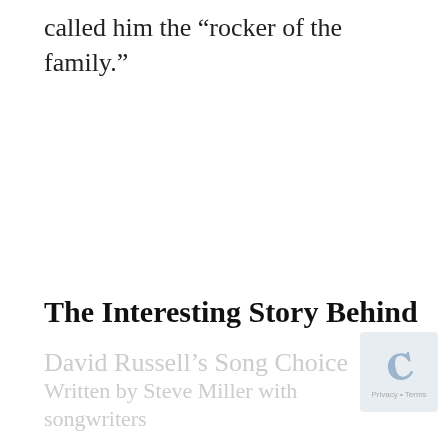called him the “rocker of the family.”
The Interesting Story Behind
David Russell’s Song Choice
Written by Steve Miller with songwriters